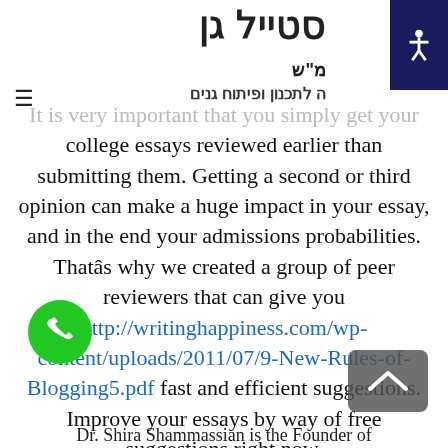סטייל גן | ה לתכנון ופיתוח גנים
It is very important that you simply get your college essays reviewed earlier than submitting them. Getting a second or third opinion can make a huge impact in your essay, and in the end your admissions probabilities. That's why we created a group of peer reviewers that can give you http://writinghappiness.com/wp-content/uploads/2011/07/9-New-Rules-of-Blogging5.pdf fast and efficient suggestions. Improve your essays by way of free suggestions right now.
Dr. Shira Shammassian is the Founder of